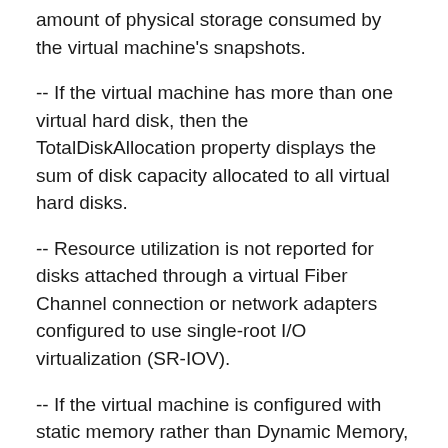amount of physical storage consumed by the virtual machine's snapshots.
-- If the virtual machine has more than one virtual hard disk, then the TotalDiskAllocation property displays the sum of disk capacity allocated to all virtual hard disks.
-- Resource utilization is not reported for disks attached through a virtual Fiber Channel connection or network adapters configured to use single-root I/O virtualization (SR-IOV).
-- If the virtual machine is configured with static memory rather than Dynamic Memory, then AverageMemoryUsage, MinimumMemoryUsage, and MaximumMemoryUsage metrics equals the memory amount configured for the virtual machine.
The default display of a resource pool resource utilization